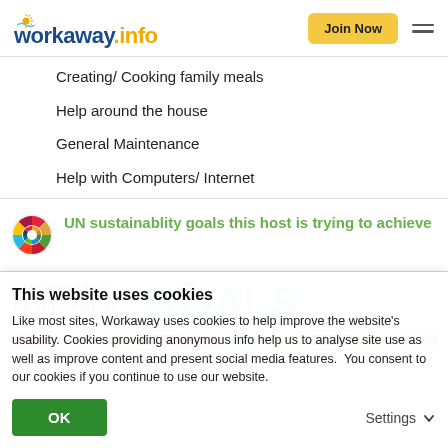workaway.info | Join Now
Creating/ Cooking family meals
Help around the house
General Maintenance
Help with Computers/ Internet
UN sustainablity goals this host is trying to achieve
[Figure (logo): Sustainable Development Goals logo with colorful wheel icon and text: SUSTAINABLE DEVELOPMENT GOALS]
This website uses cookies
Like most sites, Workaway uses cookies to help improve the website's usability. Cookies providing anonymous info help us to analyse site use as well as improve content and present social media features. You consent to our cookies if you continue to use our website.